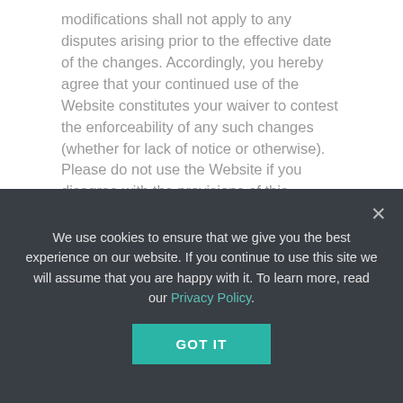modifications shall not apply to any disputes arising prior to the effective date of the changes. Accordingly, you hereby agree that your continued use of the Website constitutes your waiver to contest the enforceability of any such changes (whether for lack of notice or otherwise). Please do not use the Website if you disagree with the provisions of this paragraph 1.3. Otherwise, your continued use is to be deemed conclusive acceptance thereof.
THE SERVICES
1.  The “Services” consist of the Website and any
We use cookies to ensure that we give you the best experience on our website. If you continue to use this site we will assume that you are happy with it. To learn more, read our Privacy Policy.